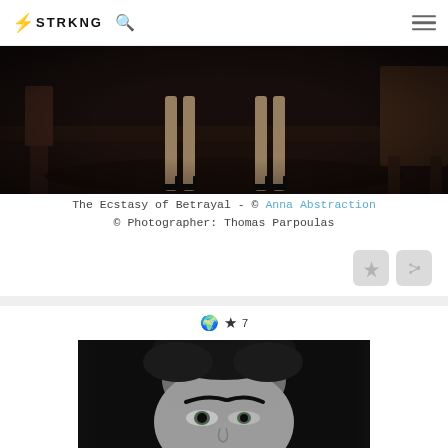⚡ STRKNG 🔍
[Figure (photo): Dark moody photograph showing legs of people in a dimly lit room with furniture, high heels visible, dark atmospheric interior scene]
The Ecstasy of Betrayal - © Anna Abstraction
© Photographer: Thomas Parpoulas
[Figure (photo): Black and white close-up portrait photograph of a woman with strong eyebrows, looking directly at camera, curly/wavy hair pulled back, dramatic lighting]